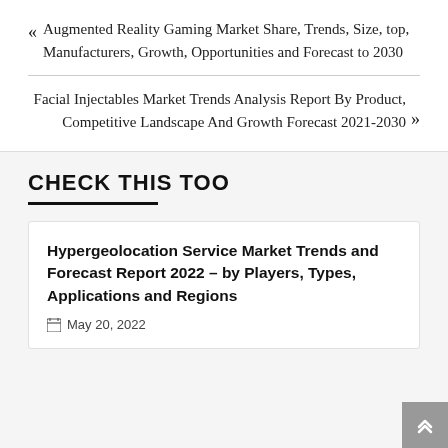« Augmented Reality Gaming Market Share, Trends, Size, top, Manufacturers, Growth, Opportunities and Forecast to 2030
Facial Injectables Market Trends Analysis Report By Product, Competitive Landscape And Growth Forecast 2021-2030 »
CHECK THIS TOO
Hypergeolocation Service Market Trends and Forecast Report 2022 – by Players, Types, Applications and Regions
May 20, 2022